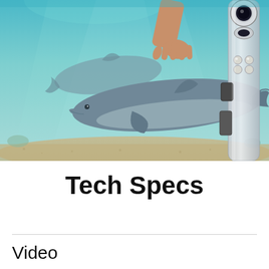[Figure (photo): Underwater photograph of two dolphins swimming near a sandy seabed, with a hand reaching toward one dolphin. On the right side, a close-up of a silver/transparent 360-degree camera device with dual lenses and LED lights is overlaid on the image.]
Tech Specs
Video